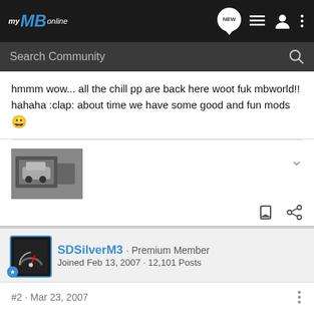[Figure (screenshot): myMBonline forum website navigation bar with logo and icons]
[Figure (screenshot): Search Community search bar on dark background]
hmmm wow... all the chill pp are back here woot fuk mbworld!! hahaha :clap: about time we have some good and fun mods 😀
[Figure (photo): Car in garage/workshop thumbnail photo]
SDSilverM3 · Premium Member
Joined Feb 13, 2007 · 12,101 Posts
#2 · Mar 23, 2007
Wuttup EG. Welcome aboard. :wave: